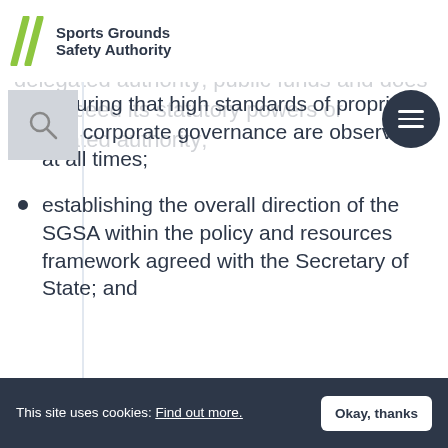Sports Grounds Safety Authority
ensuring that high standards of propriety and corporate governance are observed at all times;
establishing the overall direction of the SGSA within the policy and resources framework agreed with the Secretary of State; and
This site uses cookies: Find out more. Okay, thanks